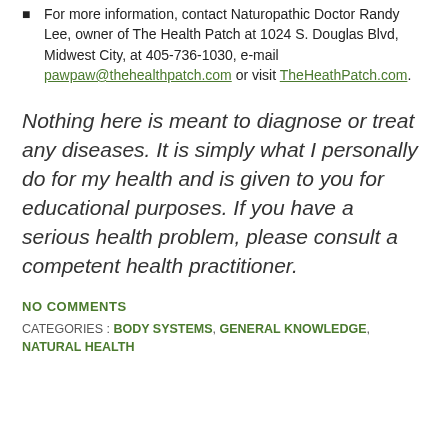For more information, contact Naturopathic Doctor Randy Lee, owner of The Health Patch at 1024 S. Douglas Blvd, Midwest City, at 405-736-1030, e-mail pawpaw@thehealthpatch.com or visit TheHeathPatch.com.
Nothing here is meant to diagnose or treat any diseases. It is simply what I personally do for my health and is given to you for educational purposes. If you have a serious health problem, please consult a competent health practitioner.
NO COMMENTS
CATEGORIES : BODY SYSTEMS, GENERAL KNOWLEDGE, NATURAL HEALTH